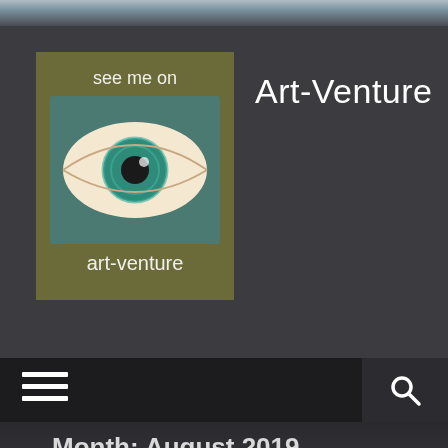[Figure (logo): Art-Venture logo: a framed image of a green eye with text 'see me on' at top and 'art-venture' at bottom on olive/teal background]
Art-Venture
[Figure (other): Navigation bar with hamburger menu icon (three horizontal white lines) on left and search icon (magnifying glass) on right dark background]
Month: August 2019
Art-Venture Magazine No.175